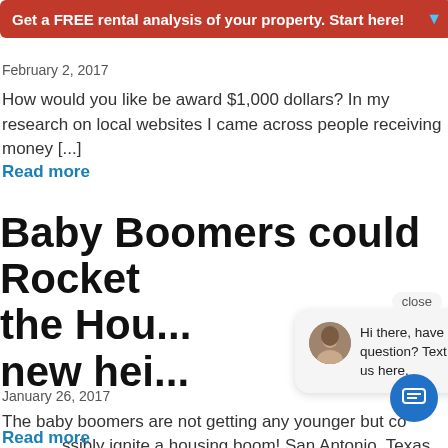[Figure (other): Red banner with white text: Get a FREE rental analysis of your property. Start here! with a cyan down arrow on the right.]
February 2, 2017
How would you like be award $1,000 dollars? In my research on local websites I came across people receiving money [...]
Read more
Baby Boomers could Rocket the Hou... new hei...
[Figure (other): Chat popup with close button, avatar of a woman, and text: Hi there, have a question? Text us here. With a blue circular chat button below.]
January 26, 2017
The baby boomers are not getting any younger but co... ssibly ignite a housing boom! San Antonio, Texas has been [...]
Read more